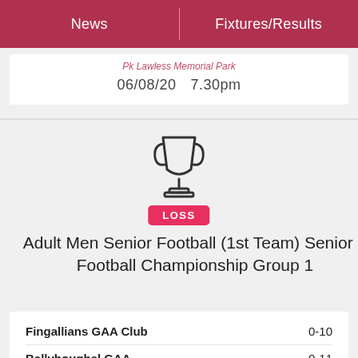News | Fixtures/Results
Pk Lawless Memorial Park
06/08/20   7.30pm
[Figure (illustration): Trophy icon outline]
LOSS
Adult Men Senior Football (1st Team) Senior 2 Football Championship Group 1
| Team | Score |
| --- | --- |
| Fingallians GAA Club | 0-10 |
| Ballyboughal GAA | 0-11 |